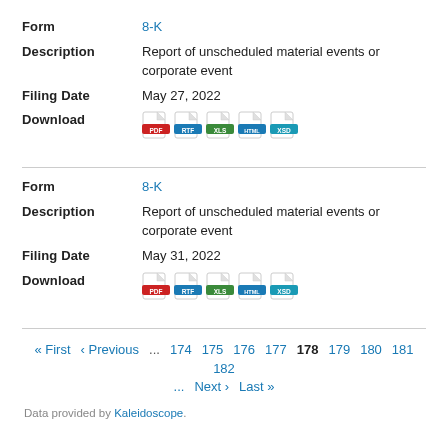Form: 8-K
Description: Report of unscheduled material events or corporate event
Filing Date: May 27, 2022
Download: PDF, RTF, XLS, HTML, XSD
Form: 8-K
Description: Report of unscheduled material events or corporate event
Filing Date: May 31, 2022
Download: PDF, RTF, XLS, HTML, XSD
« First  ‹ Previous  ... 174 175 176 177 178 179 180 181 182 ... Next › Last »
Data provided by Kaleidoscope